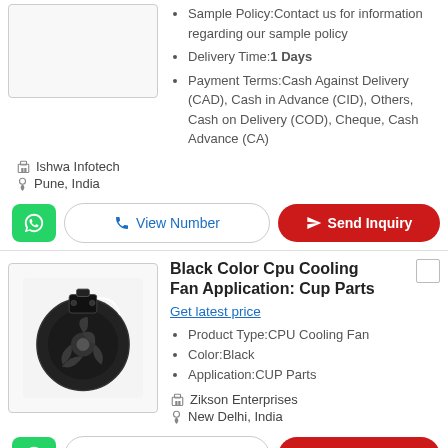Sample Policy:Contact us for information regarding our sample policy
Delivery Time:1 Days
Payment Terms:Cash Against Delivery (CAD), Cash in Advance (CID), Others, Cash on Delivery (COD), Cheque, Cash Advance (CA)
Ishwa Infotech
Pune, India
Black Color Cpu Cooling Fan Application: Cup Parts
Get latest price
Product Type:CPU Cooling Fan
Color:Black
Application:CUP Parts
Zikson Enterprises
New Delhi, India